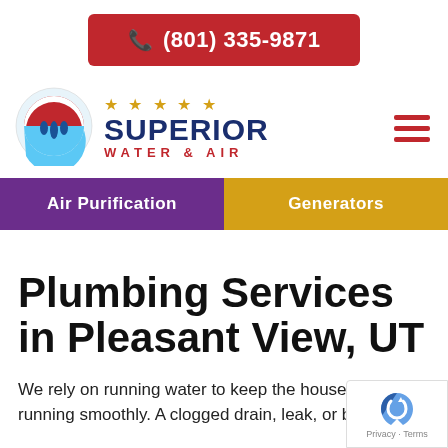[Figure (logo): Red button with phone icon and number (801) 335-9871]
[Figure (logo): Superior Water & Air logo with circular emblem, 5 gold stars, navy SUPERIOR text, red WATER & AIR text]
[Figure (other): Hamburger menu icon with three red horizontal lines]
Air Purification
Generators
Plumbing Services in Pleasant View, UT
We rely on running water to keep the household running smoothly. A clogged drain, leak, or broken